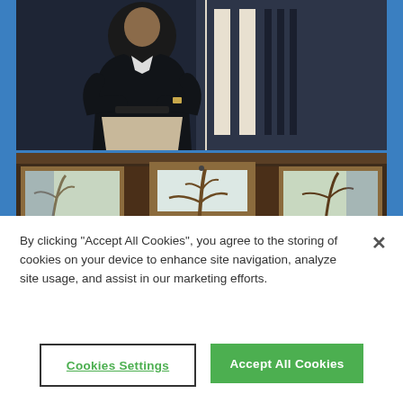[Figure (photo): A man in a dark suit standing with arms crossed in front of a modern building with large glass windows]
[Figure (photo): Interior view of a room with ornate wooden window frames — three large open windows showing bare trees and outdoor scenery]
By clicking “Accept All Cookies”, you agree to the storing of cookies on your device to enhance site navigation, analyze site usage, and assist in our marketing efforts.
Cookies Settings
Accept All Cookies